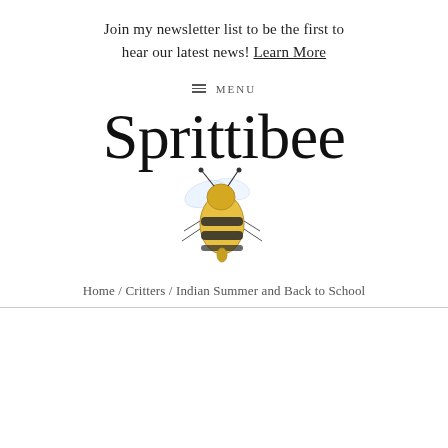Join my newsletter list to be the first to hear our latest news! Learn More
≡ MENU
[Figure (logo): Sprittibee logo with cursive script text and illustrated bumblebee]
Home / Critters / Indian Summer and Back to School